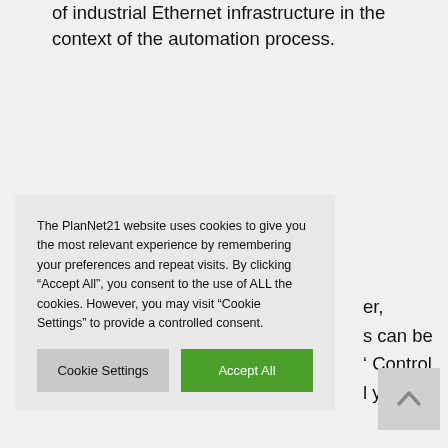of industrial Ethernet infrastructure in the context of the automation process.
The PlanNet21 website uses cookies to give you the most relevant experience by remembering your preferences and repeat visits. By clicking “Accept All”, you consent to the use of ALL the cookies. However, you may visit "Cookie Settings" to provide a controlled consent.
er, s can be ‘ Control l your IoT
[Figure (other): Back to top arrow button, light grey square with an upward-pointing chevron/arrow icon]